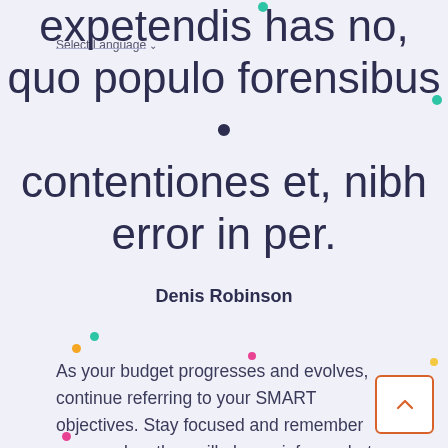Select Language
expetendis has no, quo populo forensibus • contentiones et, nibh error in per.
Denis Robinson
As your budget progresses and evolves, continue referring to your SMART objectives. Stay focused and remember your goals – they will always inform what your next step will be!